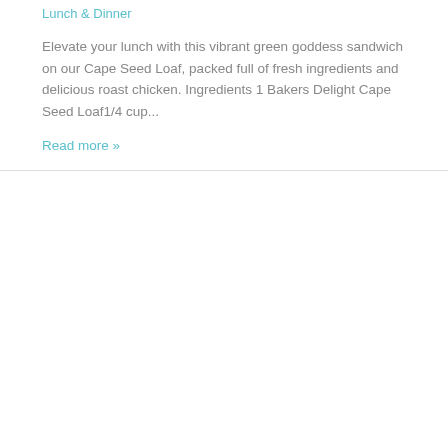Lunch & Dinner
Elevate your lunch with this vibrant green goddess sandwich on our Cape Seed Loaf, packed full of fresh ingredients and delicious roast chicken. Ingredients 1 Bakers Delight Cape Seed Loaf1/4 cup...
Read more »